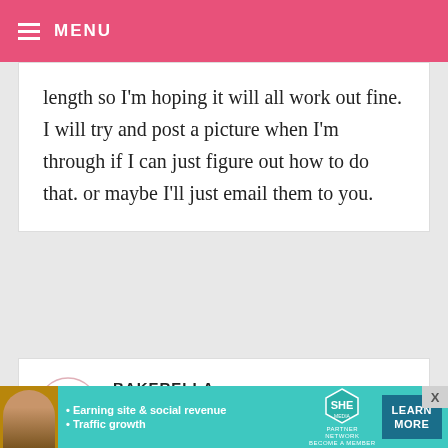MENU
length so I'm hoping it will all work out fine. I will try and post a picture when I'm through if I can just figure out how to do that. or maybe I'll just email them to you.
BAKERELLA — DECEMBER 9, 2008 @ 5:11 AM
REPLY
Kylee – it's worth a try. I haven't frozen the oreos, but I think they would be fine. The coolest frozen would be
[Figure (infographic): SHE Partner Network advertisement banner with woman photo, bullet points: Earning site & social revenue, Traffic growth. Teal background with LEARN MORE button.]